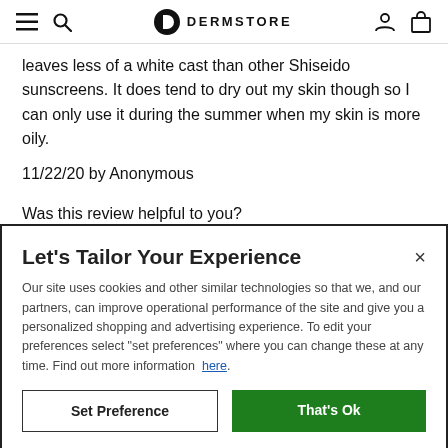DERMSTORE
leaves less of a white cast than other Shiseido sunscreens. It does tend to dry out my skin though so I can only use it during the summer when my skin is more oily.
11/22/20 by Anonymous
Was this review helpful to you?
Let's Tailor Your Experience
Our site uses cookies and other similar technologies so that we, and our partners, can improve operational performance of the site and give you a personalized shopping and advertising experience. To edit your preferences select "set preferences" where you can change these at any time. Find out more information here.